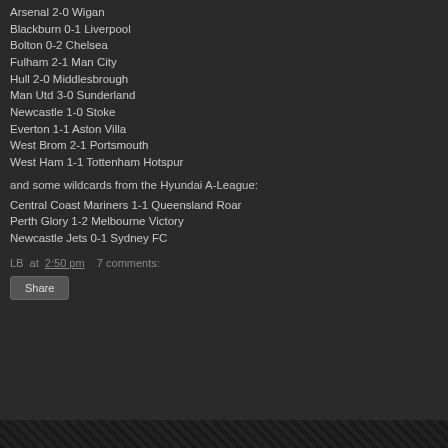Arsenal 2-0 Wigan
Blackburn 0-1 Liverpool
Bolton 0-2 Chelsea
Fulham 2-1 Man City
Hull 2-0 Middlesbrough
Man Utd 3-0 Sunderland
Newcastle 1-0 Stoke
Everton 1-1 Aston Villa
West Brom 2-1 Portsmouth
West Ham 1-1 Tottenham Hotspur
and some wildcards from the Hyundai A-League:
Central Coast Mariners 1-1 Queensland Roar
Perth Glory 1-2 Melbourne Victory
Newcastle Jets 0-1 Sydney FC
LB at 2:50 pm   7 comments:
Share